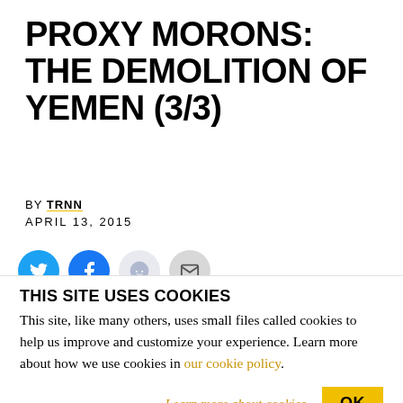PROXY MORONS: THE DEMOLITION OF YEMEN (3/3)
BY TRNN
APRIL 13, 2015
[Figure (infographic): Social share buttons: Twitter (blue circle), Facebook (blue circle), Reddit (light grey circle), Email (grey circle)]
[Figure (photo): Black video embed area]
THIS SITE USES COOKIES
This site, like many others, uses small files called cookies to help us improve and customize your experience. Learn more about how we use cookies in our cookie policy.
Learn more about cookies   OK